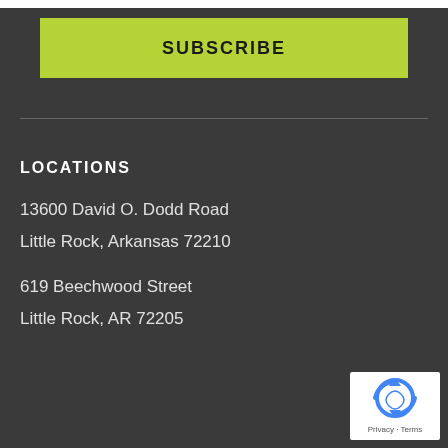SUBSCRIBE
LOCATIONS
13600 David O. Dodd Road
Little Rock, Arkansas 72210
619 Beechwood Street
Little Rock, AR 72205
[Figure (logo): Google reCAPTCHA badge with circular arrow logo and Privacy - Terms text]